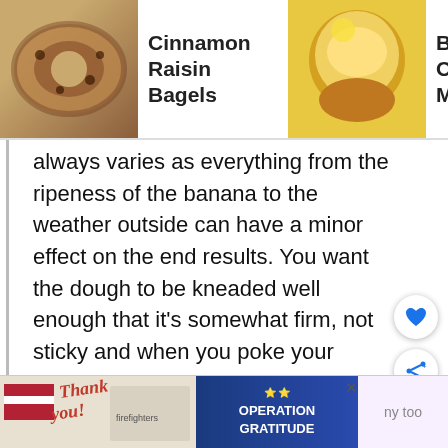[Figure (screenshot): Navigation bar showing three recipe links: Cinnamon Raisin Bagels with a bagel photo, Banana Orange Muffins with a muffin photo, and Cinnamon Swirl Banana Bread with a bread photo (partially visible)]
always varies as everything from the ripeness of the banana to the weather outside can have a minor effect on the end results. You want the dough to be kneaded well enough that it's somewhat firm, not sticky and when you poke your finger at it it should instantly spring back to fill in the indent your finger made.
When shaping the dough into bagels, I use my kitchen scale to weigh the dough whole first, and then mentally divide by 6 so I
[Figure (screenshot): WHAT'S NEXT callout with Cranberry Eggnog... label and muffin thumbnail]
[Figure (screenshot): Advertisement banner: Thank you image with firefighters and Operation Gratitude logo]